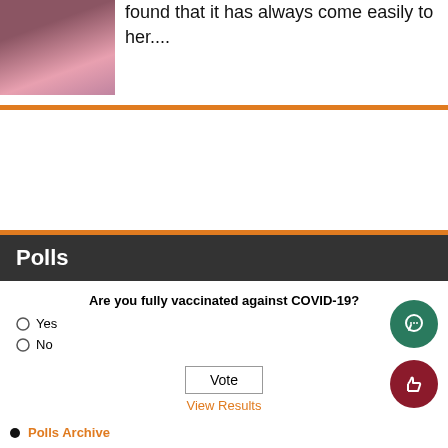[Figure (photo): Partial photo of a person, cropped at top left]
found that it has always come easily to her....
Polls
Are you fully vaccinated against COVID-19?
Yes
No
Vote
View Results
Polls Archive